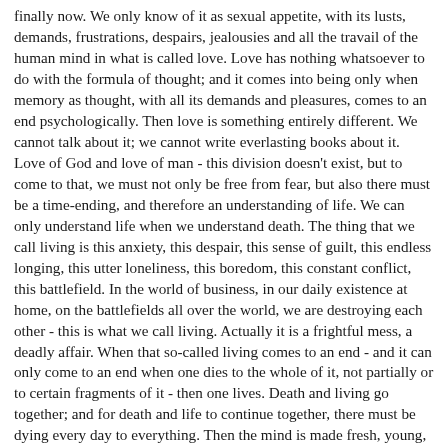finally now. We only know of it as sexual appetite, with its lusts, demands, frustrations, despairs, jealousies and all the travail of the human mind in what is called love. Love has nothing whatsoever to do with the formula of thought; and it comes into being only when memory as thought, with all its demands and pleasures, comes to an end psychologically. Then love is something entirely different. We cannot talk about it; we cannot write everlasting books about it. Love of God and love of man - this division doesn't exist, but to come to that, we must not only be free from fear, but also there must be a time-ending, and therefore an understanding of life. We can only understand life when we understand death. The thing that we call living is this anxiety, this despair, this sense of guilt, this endless longing, this utter loneliness, this boredom, this constant conflict, this battlefield. In the world of business, in our daily existence at home, on the battlefields all over the world, we are destroying each other - this is what we call living. Actually it is a frightful mess, a deadly affair. When that so-called living comes to an end - and it can only come to an end when one dies to the whole of it, not partially or to certain fragments of it - then one lives. Death and living go together; and for death and life to continue together, there must be dying every day to everything. Then the mind is made fresh, young, innocent. That innocency cannot come through any drug, through any experience. It must be beyond and above all experience. A light to itself does not need any experience.